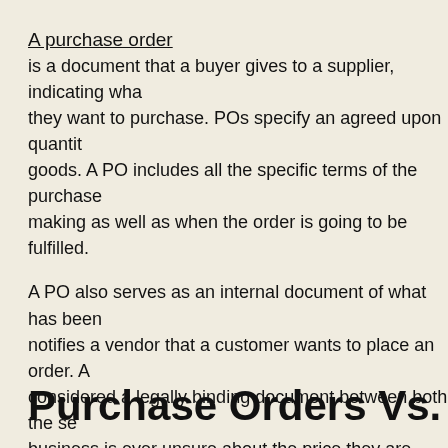A purchase order
is a document that a buyer gives to a supplier, indicating what they want to purchase. POs specify an agreed upon quantity of goods. A PO includes all the specific terms of the purchase making as well as when the order is going to be fulfilled.
A PO also serves as an internal document of what has been notifies a vendor that a customer wants to place an order. A considered a legally binding document between both the se business is ever unsure about the price they are paying for supplier, they can always check the purchase order.
Purchase Orders Vs. Invoices